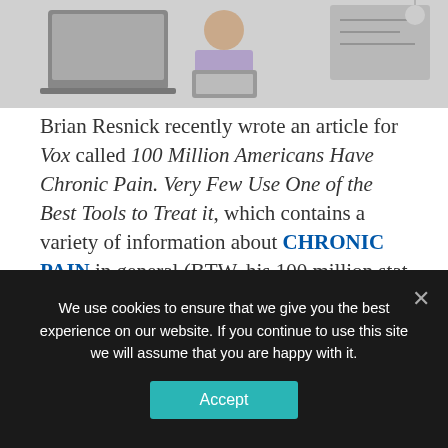[Figure (photo): Banner image showing laptop computers and a person working on a laptop, with some illustrative icons]
Brian Resnick recently wrote an article for Vox called 100 Million Americans Have Chronic Pain. Very Few Use One of the Best Tools to Treat it, which contains a variety of information about CHRONIC PAIN in general (BTW, his 100 million stat is correct) as well as specifically on CHRONIC BACK PAIN, FAILED SPINAL
We use cookies to ensure that we give you the best experience on our website. If you continue to use this site we will assume that you are happy with it.